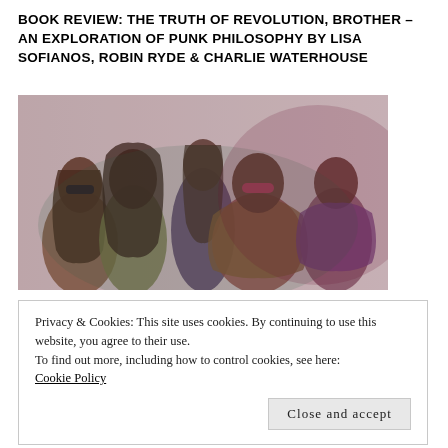BOOK REVIEW: THE TRUTH OF REVOLUTION, BROTHER – AN EXPLORATION OF PUNK PHILOSOPHY BY LISA SOFIANOS, ROBIN RYDE & CHARLIE WATERHOUSE
[Figure (photo): Group photo of five people with long hair and sunglasses, wearing colorful and bohemian clothing against a light background, with a psychedelic color overlay effect]
Privacy & Cookies: This site uses cookies. By continuing to use this website, you agree to their use.
To find out more, including how to control cookies, see here: Cookie Policy
Close and accept